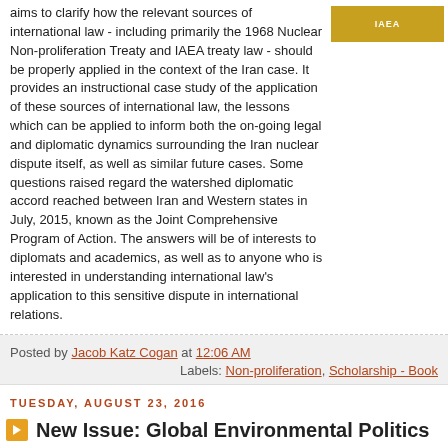aims to clarify how the relevant sources of international law - including primarily the 1968 Nuclear Non-proliferation Treaty and IAEA treaty law - should be properly applied in the context of the Iran case. It provides an instructional case study of the application of these sources of international law, the lessons which can be applied to inform both the on-going legal and diplomatic dynamics surrounding the Iran nuclear dispute itself, as well as similar future cases. Some questions raised regard the watershed diplomatic accord reached between Iran and Western states in July, 2015, known as the Joint Comprehensive Program of Action. The answers will be of interests to diplomats and academics, as well as to anyone who is interested in understanding international law's application to this sensitive dispute in international relations.
Posted by Jacob Katz Cogan at 12:06 AM
Labels: Non-proliferation, Scholarship - Book
TUESDAY, AUGUST 23, 2016
New Issue: Global Environmental Politics
The latest issue of Global Environmental Politics (Vol. 16, no. 3, August 2016) is out. Contents include: